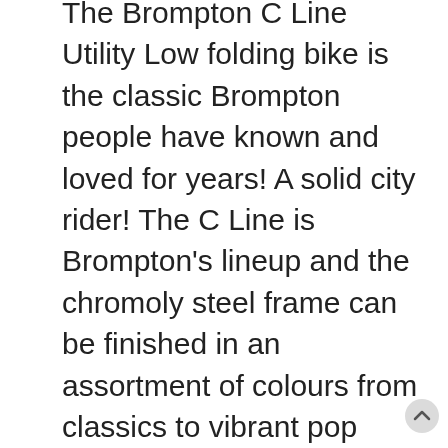The Brompton C Line Utility Low folding bike is the classic Brompton people have known and loved for years! A solid city rider! The C Line is Brompton's lineup and the chromoly steel frame can be finished in an assortment of colours from classics to vibrant pop tones - including the all-new Piccadilly Blue or Fire Coral. For a premium look, choose the Black Lacquer finish which is made using only the best frames where the hand brazing is visible.
Robust and ready for the day-to-day, the Brompton Utility model uses the fantastic Sturmey Archer BSR internal hub which offers 3 speeds for an adaptable ride. This model lets you take on some hills without adding too much weight and with the added benefit of being extremely low maintenance. Schwalbe